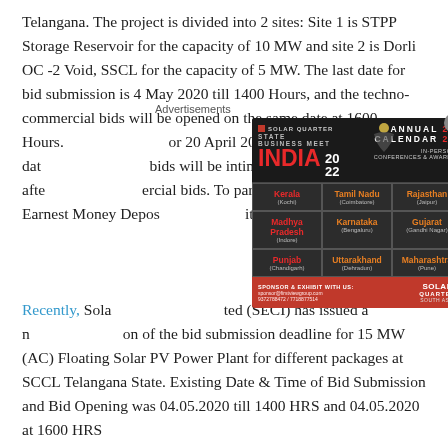Telangana. The project is divided into 2 sites: Site 1 is STPP Storage Reservoir for the capacity of 10 MW and site 2 is Dorli OC -2 Void, SSCL for the capacity of 5 MW. The last date for bid submission is 4 May 2020 till 1400 Hours, and the techno-commercial bids will be opened on the same date at 1600 Hours. [Ad overlay] for 20 April 2020. The date [Ad overlay] bids will be intimated afte[Ad overlay]ercial bids. To participate [Ad overlay]bmit Earnest Money Depos[Ad overlay]ith their bids.
[Figure (infographic): Solar Quarter State Business Meet India 2022 Annual Calendar advertisement popup showing an India map and grid of states: Kerala (Kochi), Tamil Nadu (Coimbatore), Rajasthan (Jaipur), Madhya Pradesh (Indore), Karnataka (Bengaluru), Gujarat (Gandhi Nagar), Punjab (Chandigarh), Uttarakhand (Dehradun), Maharashtra (Pune). Sponsor and Exhibit with us contact info at the bottom.]
Recently, Sola[Ad overlay]ted (SECI) has issued a n[Ad overlay]on of the bid submission deadline for 15 MW (AC) Floating Solar PV Power Plant for different packages at SCCL Telangana State. Existing Date & Time of Bid Submission and Bid Opening was 04.05.2020 till 1400 HRS and 04.05.2020 at 1600 HRS